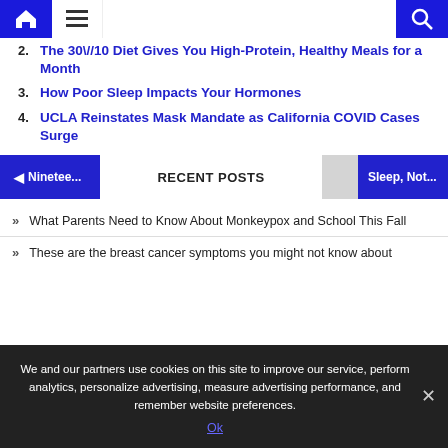Navigation bar with home, menu, and search icons
2. The 30\//10 Diet Gives You High-Protein, Healthy Meals for a Month
3. How Poor Sleep Impacts Your Hormones
4. UCLA Reinstates Mask Mandate as California COVID Cases Surge
RECENT POSTS
What Parents Need to Know About Monkeypox and School This Fall
These are the breast cancer symptoms you might not know about
We and our partners use cookies on this site to improve our service, perform analytics, personalize advertising, measure advertising performance, and remember website preferences.
Ok